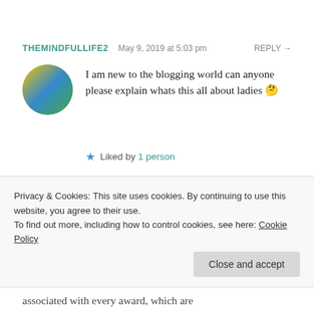THEMINDFULLIFE2   May 9, 2019 at 5:03 pm   REPLY →
I am new to the blogging world can anyone please explain whats this all about ladies 🤔
★ Liked by 1 person
MS. EAGER BEAVER   May 10, 2019 at 4:51 pm   REPLY →
Hey! Welcome to the blogging world! 😊
Privacy & Cookies: This site uses cookies. By continuing to use this website, you agree to their use.
To find out more, including how to control cookies, see here: Cookie Policy
Close and accept
associated with every award, which are